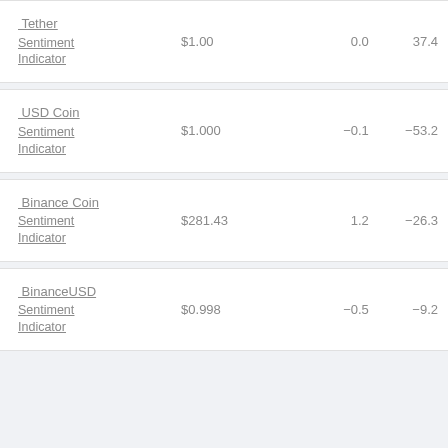| Name | Price | Change | Indicator |
| --- | --- | --- | --- |
| Tether
Sentiment Indicator | $1.00 | 0.0 | 37.4 |
| USD Coin
Sentiment Indicator | $1.000 | -0.1 | -53.2 |
| Binance Coin
Sentiment Indicator | $281.43 | 1.2 | -26.3 |
| BinanceUSD
Sentiment Indicator | $0.998 | -0.5 | -9.2 |